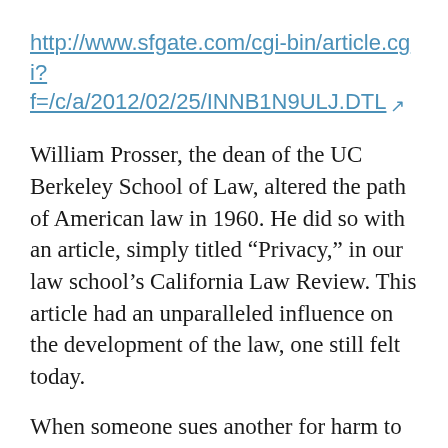http://www.sfgate.com/cgi-bin/article.cgi?f=/c/a/2012/02/25/INNB1N9ULJ.DTL
William Prosser, the dean of the UC Berkeley School of Law, altered the path of American law in 1960. He did so with an article, simply titled “Privacy,” in our law school’s California Law Review. This article had an unparalleled influence on the development of the law, one still felt today.
When someone sues another for harm to his privacy, whether or not he knows it, he relies on the Prosser approach. Prosser defined the right of privacy as protecting individuals against certain highly offensive